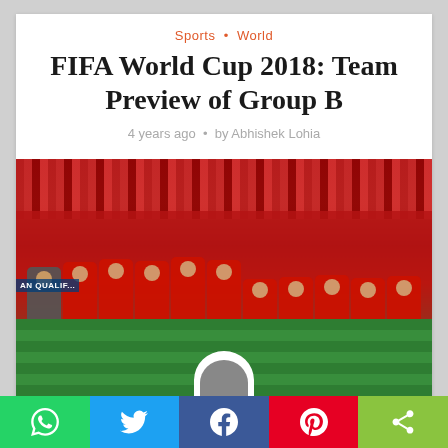Sports · World
FIFA World Cup 2018: Team Preview of Group B
4 years ago · by Abhishek Lohia
[Figure (photo): Spain national football team squad photo on a pitch, players wearing red jerseys, with crowd in background]
Social share bar: WhatsApp, Twitter, Facebook, Pinterest, Share